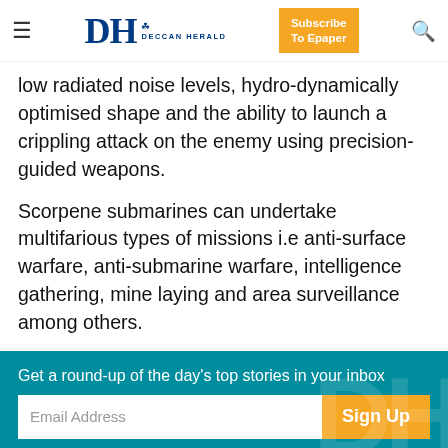DH DECCAN HERALD | Subscribe To Epaper
low radiated noise levels, hydro-dynamically optimised shape and the ability to launch a crippling attack on the enemy using precision-guided weapons.
Scorpene submarines can undertake multifarious types of missions i.e anti-surface warfare, anti-submarine warfare, intelligence gathering, mine laying and area surveillance among others.
[Figure (infographic): Teal newsletter signup banner with text: Get a round-up of the day's top stories in your inbox, email address field, Sign Up button, and Check out all newsletters link]
[Figure (infographic): Advertisement banner for The Perspective newsletter with reversed text logo, 'SEE WHAT YOU'RE MISSING' text, and READ MORE yellow button]